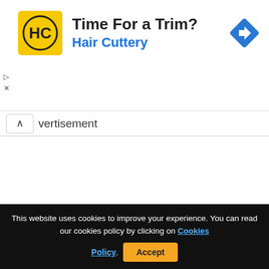[Figure (illustration): Hair Cuttery advertisement banner with yellow HC logo, text 'Time For a Trim?' and 'Hair Cuttery' in blue, with a blue navigation/direction diamond icon on the right side]
vertisement
[Figure (illustration): Three social media circular icon buttons: Facebook (blue), Pinterest (red), Twitter (light blue)]
This website uses cookies to improve your experience. You can read our cookies policy by clicking on Cookies Policy. Accept